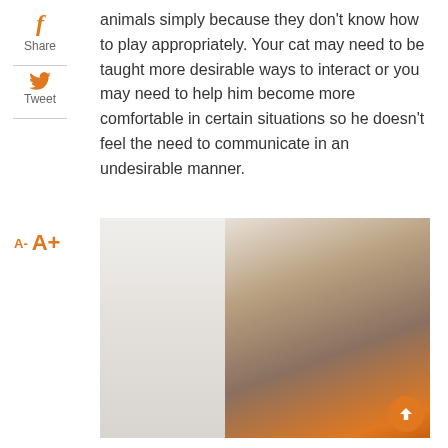animals simply because they don't know how to play appropriately. Your cat may need to be taught more desirable ways to interact or you may need to help him become more comfortable in certain situations so he doesn't feel the need to communicate in an undesirable manner.
[Figure (photo): A tabby cat with green eyes lying on an orange surface, photographed against a light background with a curtain on the left side.]